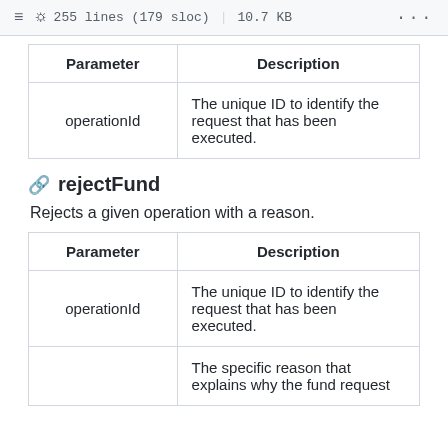255 lines (179 sloc)  |  10.7 KB
| Parameter | Description |
| --- | --- |
| operationId | The unique ID to identify the request that has been executed. |
rejectFund
Rejects a given operation with a reason.
| Parameter | Description |
| --- | --- |
| operationId | The unique ID to identify the request that has been executed. |
|  | The specific reason that explains why the fund request |